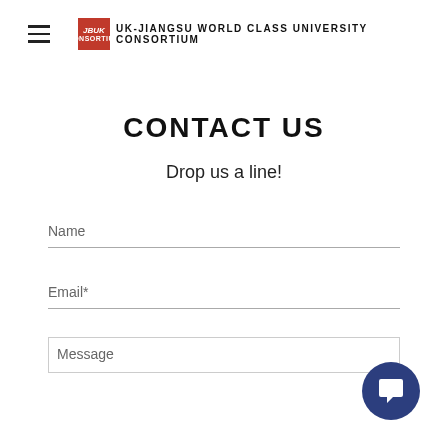UK-JIANGSU WORLD CLASS UNIVERSITY CONSORTIUM
CONTACT US
Drop us a line!
Name
Email*
Message